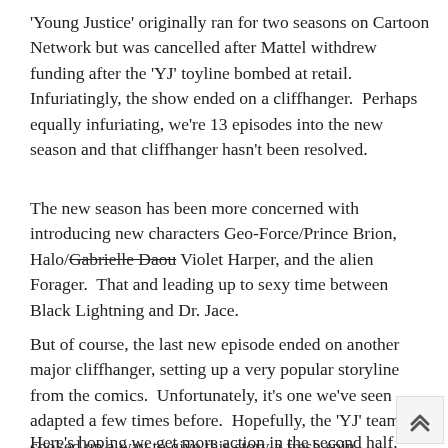'Young Justice' originally ran for two seasons on Cartoon Network but was cancelled after Mattel withdrew funding after the 'YJ' toyline bombed at retail.  Infuriatingly, the show ended on a cliffhanger.  Perhaps equally infuriating, we're 13 episodes into the new season and that cliffhanger hasn't been resolved.
The new season has been more concerned with introducing new characters Geo-Force/Prince Brion, Halo/Gabrielle Daou Violet Harper, and the alien Forager.  That and leading up to sexy time between Black Lightning and Dr. Jace.
But of course, the last new episode ended on another major cliffhanger, setting up a very popular storyline from the comics.  Unfortunately, it's one we've seen adapted a few times before.  Hopefully, the 'YJ' team has cooked up a way to give this story a fresh spin.
Here's hoping we get more action in the second half.